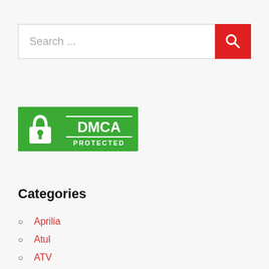[Figure (screenshot): Search bar with text input field showing 'Search ...' placeholder and a red button with a magnifying glass icon on the right]
[Figure (logo): DMCA Protected badge — green background with white padlock icon on the left and 'DMCA PROTECTED' text on the right]
Categories
Aprilia
Atul
ATV